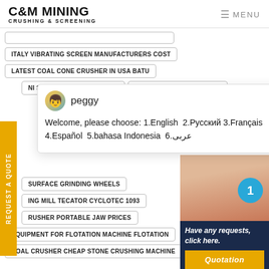C&M MINING CRUSHING & SCREENING | MENU
ITALY VIBRATING SCREEN MANUFACTURERS COST
LATEST COAL CONE CRUSHER IN USA BATU
NI STONE CRUSHER HIRE UK
SEA CRUSHER 2 6 5 SERIAL
peggy
Welcome, please choose: 1.English 2.Русский 3.Français 4.Español 5.bahasa Indonesia 6.عربى
REQUEST A QUOTE
SURFACE GRINDING WHEELS
ING MILL TECATOR CYCLOTEC 1093
RUSHER PORTABLE JAW PRICES
Have any requests, click here.
Quotation
EQUIPMENT FOR FLOTATION MACHINE FLOTATION
COAL CRUSHER CHEAP STONE CRUSHING MACHINE